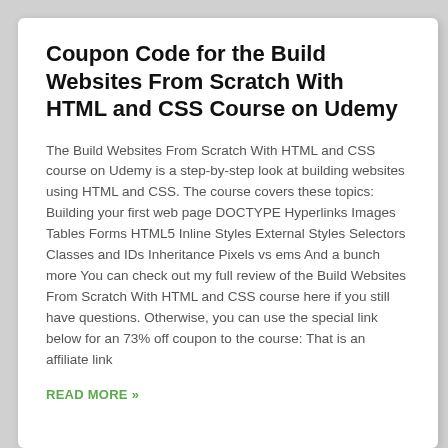Coupon Code for the Build Websites From Scratch With HTML and CSS Course on Udemy
The Build Websites From Scratch With HTML and CSS course on Udemy is a step-by-step look at building websites using HTML and CSS. The course covers these topics: Building your first web page DOCTYPE Hyperlinks Images Tables Forms HTML5 Inline Styles External Styles Selectors Classes and IDs Inheritance Pixels vs ems And a bunch more You can check out my full review of the Build Websites From Scratch With HTML and CSS course here if you still have questions. Otherwise, you can use the special link below for an 73% off coupon to the course: That is an affiliate link
READ MORE »